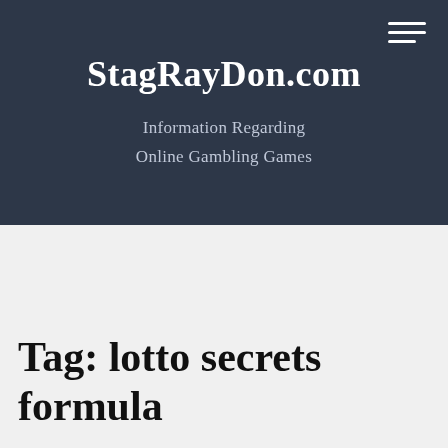StagRayDon.com
Information Regarding Online Gambling Games
Tag: lotto secrets formula